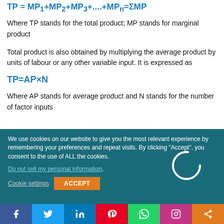Where TP stands for the total product; MP stands for marginal product
Total product is also obtained by multiplying the average product by units of labour or any other variable input. It is expressed as
Where AP stands for average product and N stands for the number of factor inputs
We use cookies on our website to give you the most relevant experience by remembering your preferences and repeat visits. By clicking “Accept”, you consent to the use of ALL the cookies.
Do not sell my personal information.